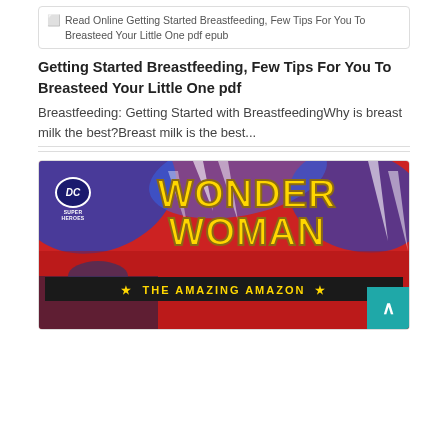[Figure (screenshot): Book cover thumbnail placeholder showing alt text: Read Online Getting Started Breastfeeding, Few Tips For You To Breasteed Your Little One pdf epub]
Getting Started Breastfeeding, Few Tips For You To Breasteed Your Little One pdf
Breastfeeding: Getting Started with BreastfeedingWhy is breast milk the best?Breast milk is the best...
[Figure (illustration): Wonder Woman - The Amazing Amazon book cover. DC Super Heroes logo in top left. Large yellow text reading WONDER WOMAN on colorful red and blue background. Black banner at bottom reading THE AMAZING AMAZON with stars. Figure of Wonder Woman visible at bottom.]